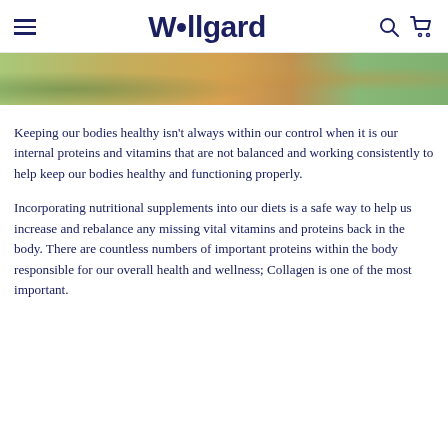Wellgard
[Figure (photo): Partial view of vegetables and food items on a kitchen counter or table, cropped at the top of the content area.]
Keeping our bodies healthy isn't always within our control when it is our internal proteins and vitamins that are not balanced and working consistently to help keep our bodies healthy and functioning properly.
Incorporating nutritional supplements into our diets is a safe way to help us increase and rebalance any missing vital vitamins and proteins back in the body. There are countless numbers of important proteins within the body responsible for our overall health and wellness; Collagen is one of the most important.